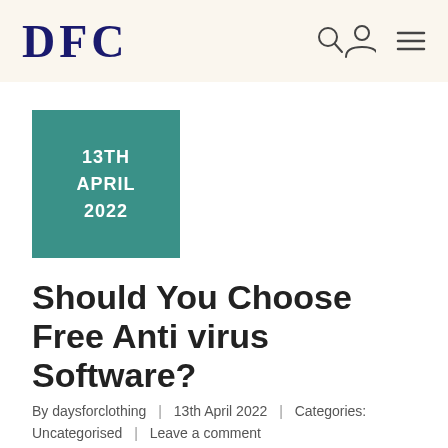DFC
[Figure (other): Teal/green square date block showing 13TH APRIL 2022]
Should You Choose Free Anti virus Software?
By daysforclothing | 13th April 2022 | Categories: Uncategorised | Leave a comment